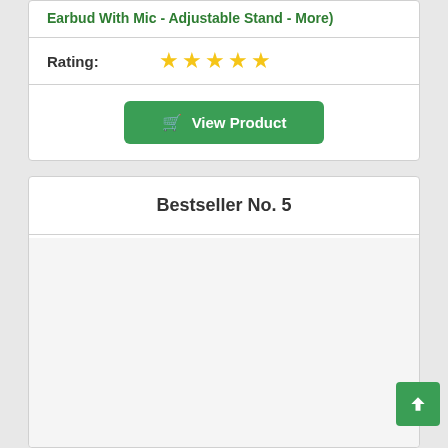Earbud With Mic - Adjustable Stand - More)
Rating: ★★★★★
View Product
Bestseller No. 5
[Figure (photo): Product image area (blank/loading)]